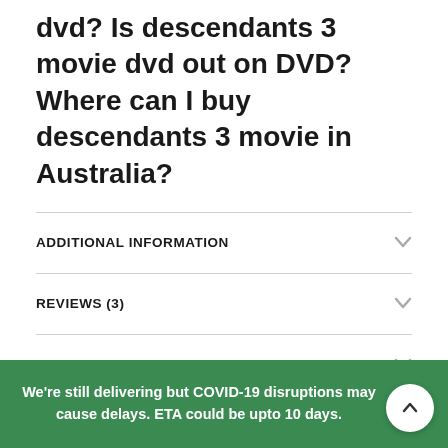dvd? Is descendants 3 movie dvd out on DVD? Where can I buy descendants 3 movie in Australia?
ADDITIONAL INFORMATION
REVIEWS (3)
SHIPPING & DELIVERY
RELATED PRODUCTS
We're still delivering but COVID-19 disruptions may cause delays. ETA could be upto 10 days.